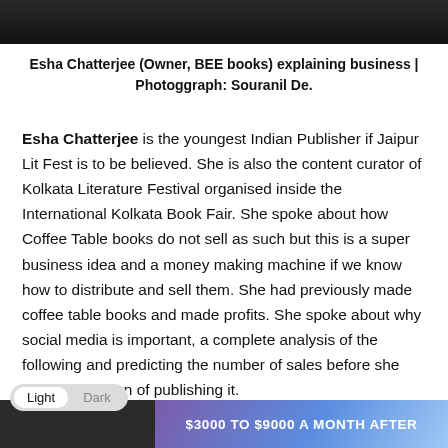[Figure (photo): Top portion of a photograph showing a dark/evening scene, partially cropped at top of page]
Esha Chatterjee (Owner, BEE books) explaining business | Photoggraph: Souranil De.
Esha Chatterjee is the youngest Indian Publisher if Jaipur Lit Fest is to be believed. She is also the content curator of Kolkata Literature Festival organised inside the International Kolkata Book Fair. She spoke about how Coffee Table books do not sell as such but this is a super business idea and a money making machine if we know how to distribute and sell them. She had previously made coffee table books and made profits. She spoke about why social media is important, a complete analysis of the following and predicting the number of sales before she takes a decision of publishing it.
[Figure (screenshot): Bottom of page showing a UI toggle with Light/Dark mode options and a partial image banner with text '$3000 TO $9000 A MONTH AFTER']